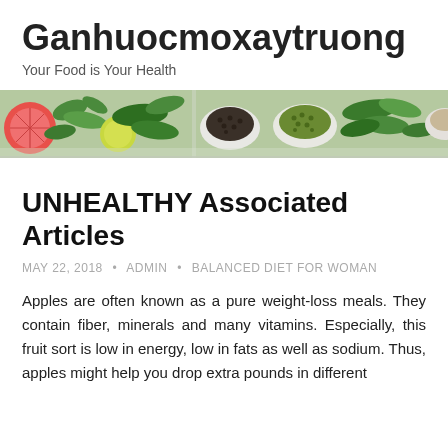Ganhuocmoxaytruong
Your Food is Your Health
[Figure (photo): Banner image of various fresh vegetables, fruits, herbs and spices including grapefruit, leafy greens, bowls of seeds and spices on a light background]
UNHEALTHY Associated Articles
MAY 22, 2018 • ADMIN • BALANCED DIET FOR WOMAN
Apples are often known as a pure weight-loss meals. They contain fiber, minerals and many vitamins. Especially, this fruit sort is low in energy, low in fats as well as sodium. Thus, apples might help you drop extra pounds in different